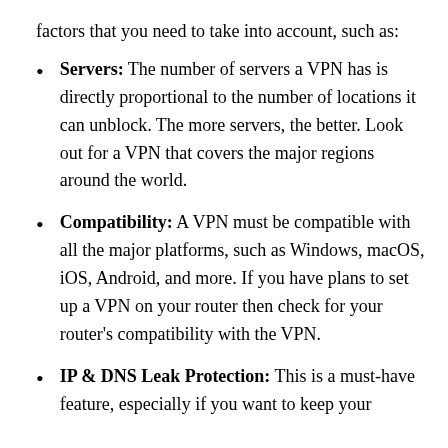factors that you need to take into account, such as:
Servers: The number of servers a VPN has is directly proportional to the number of locations it can unblock. The more servers, the better. Look out for a VPN that covers the major regions around the world.
Compatibility: A VPN must be compatible with all the major platforms, such as Windows, macOS, iOS, Android, and more. If you have plans to set up a VPN on your router then check for your router's compatibility with the VPN.
IP & DNS Leak Protection: This is a must-have feature, especially if you want to keep your